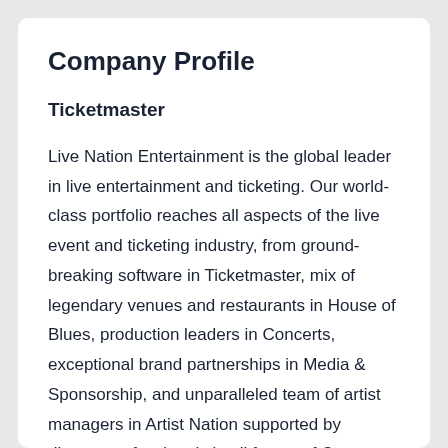Company Profile
Ticketmaster
Live Nation Entertainment is the global leader in live entertainment and ticketing. Our world-class portfolio reaches all aspects of the live event and ticketing industry, from ground-breaking software in Ticketmaster, mix of legendary venues and restaurants in House of Blues, production leaders in Concerts, exceptional brand partnerships in Media & Sponsorship, and unparalleled team of artist managers in Artist Nation supported by diverse professionals in all facets of Corporate operations.